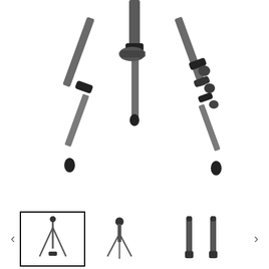[Figure (photo): Main product photo of SIRUI ET-1204 tripod showing the lower leg section and feet with three extended legs against a white background, cropped at top]
[Figure (photo): Thumbnail row showing three views of the SIRUI ET-1204 tripod: first thumbnail (selected, with border) shows full tripod extended, second shows tripod with ball head, third shows tripod folded/collapsed in two configurations]
SIRUI ET-1204 Easy Traveler - Carbon tripod with E-10 head - ET set